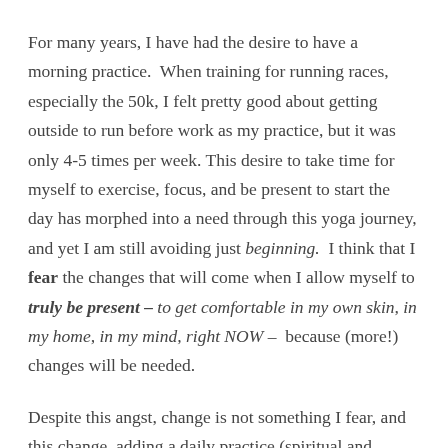For many years, I have had the desire to have a morning practice.  When training for running races, especially the 50k, I felt pretty good about getting outside to run before work as my practice, but it was only 4-5 times per week. This desire to take time for myself to exercise, focus, and be present to start the day has morphed into a need through this yoga journey, and yet I am still avoiding just beginning.  I think that I fear the changes that will come when I allow myself to truly be present – to get comfortable in my own skin, in my home, in my mind, right NOW – because (more!) changes will be needed.
Despite this angst, change is not something I fear, and this change, adding a daily practice (spiritual and physical), does not take a great deal of time nor does